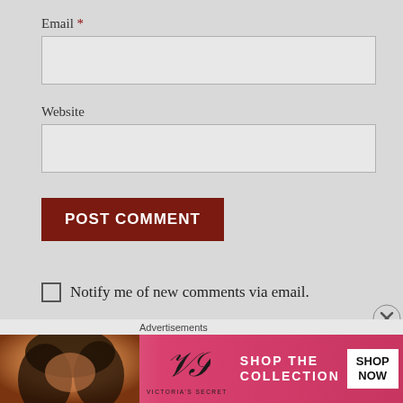Email *
Website
POST COMMENT
Notify me of new comments via email.
Notify me of new posts via email.
Advertisements
[Figure (photo): Victoria's Secret advertisement banner with model, logo, 'SHOP THE COLLECTION' text and 'SHOP NOW' CTA button]